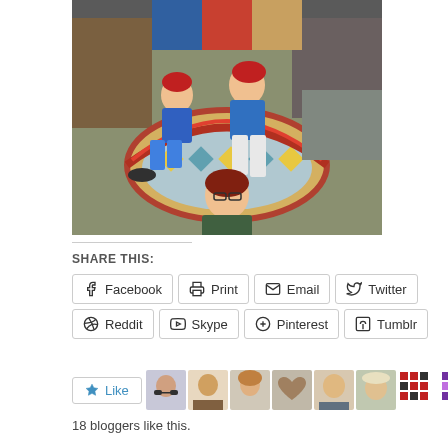[Figure (photo): A photo of two children wearing red caps sitting on a colorful tiled arch/wall, with a woman with red hair and glasses sitting below them in front of the tiles. The setting appears to be outdoors near a building with murals.]
SHARE THIS:
Facebook
Print
Email
Twitter
Reddit
Skype
Pinterest
Tumblr
18 bloggers like this.